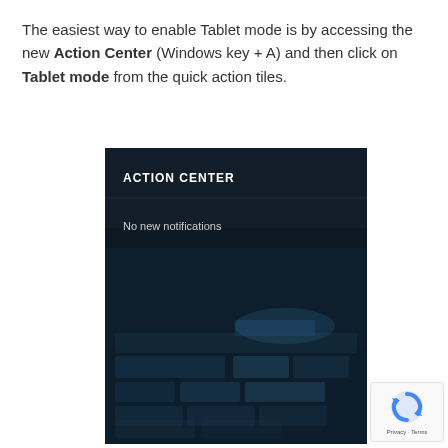The easiest way to enable Tablet mode is by accessing the new Action Center (Windows key + A) and then click on Tablet mode from the quick action tiles.
[Figure (screenshot): A screenshot of the Windows 10 Action Center panel showing a dark background with 'ACTION CENTER' header text in white, 'No new notifications' message, and blurred quick action tiles at the bottom.]
[Figure (logo): Google reCAPTCHA badge with spinning arrow icon and Privacy - Terms text.]